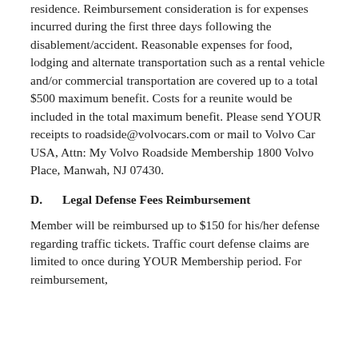residence. Reimbursement consideration is for expenses incurred during the first three days following the disablement/accident. Reasonable expenses for food, lodging and alternate transportation such as a rental vehicle and/or commercial transportation are covered up to a total $500 maximum benefit. Costs for a reunite would be included in the total maximum benefit. Please send YOUR receipts to roadside@volvocars.com or mail to Volvo Car USA, Attn: My Volvo Roadside Membership 1800 Volvo Place, Manwah, NJ 07430.
D.    Legal Defense Fees Reimbursement
Member will be reimbursed up to $150 for his/her defense regarding traffic tickets. Traffic court defense claims are limited to once during YOUR Membership period. For reimbursement,